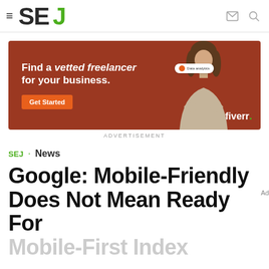SEJ
[Figure (infographic): Fiverr advertisement banner: dark red/orange background, text 'Find a vetted freelancer for your business.' with a 'Get Started' button, a woman in beige turtleneck with crossed arms, a chat bubble, and the Fiverr logo.]
ADVERTISEMENT
SEJ · News
Google: Mobile-Friendly Does Not Mean Ready For Mobile-First Index